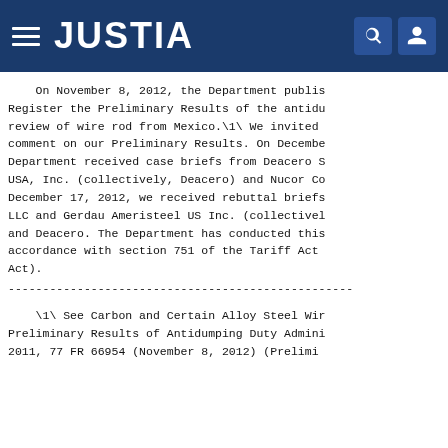JUSTIA
On November 8, 2012, the Department published in the Federal Register the Preliminary Results of the antidumping duty administrative review of wire rod from Mexico.\1\ We invited interested parties to comment on our Preliminary Results. On December 14, 2012, the Department received case briefs from Deacero S.A. de C.V. and Deacero USA, Inc. (collectively, Deacero) and Nucor Corporation. On December 17, 2012, we received rebuttal briefs from Nucor, Charter Steel LLC and Gerdau Ameristeel US Inc. (collectively, Nucor/Charter/Gerdau), and Deacero. The Department has conducted this administrative review in accordance with section 751 of the Tariff Act of 1930, as amended (the Act).
--------------------------------------------
\1\ See Carbon and Certain Alloy Steel Wire Rod from Mexico: Preliminary Results of Antidumping Duty Administrative Review; 2010-2011, 77 FR 66954 (November 8, 2012) (Preliminary Results).